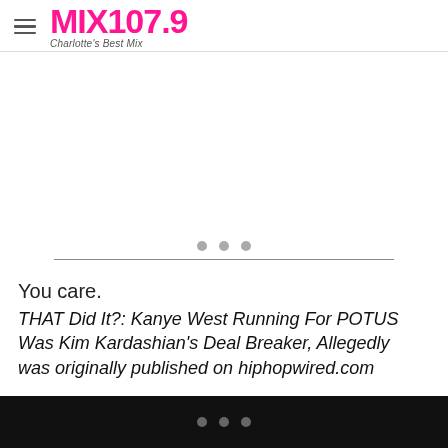MIX 107.9 — Charlotte's Best Mix
[Figure (other): Advertisement area with three dots and horizontal divider line]
You care.
THAT Did It?: Kanye West Running For POTUS Was Kim Kardashian's Deal Breaker, Allegedly  was originally published on hiphopwired.com
Three dots navigation indicator on black bar